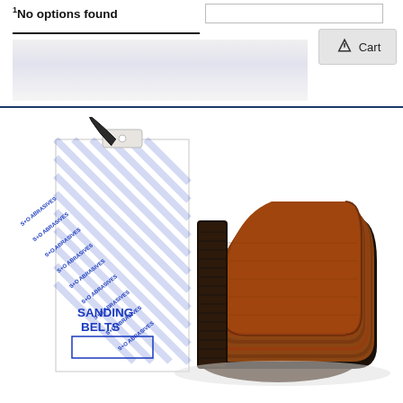1 No options found
[Figure (photo): Product photo of sanding belts: a branded box packaging labeled 'SANDING BELTS' with blue diagonal text pattern (S+O Abrasives branding), alongside a stack of brown/red abrasive sanding belts fanned out.]